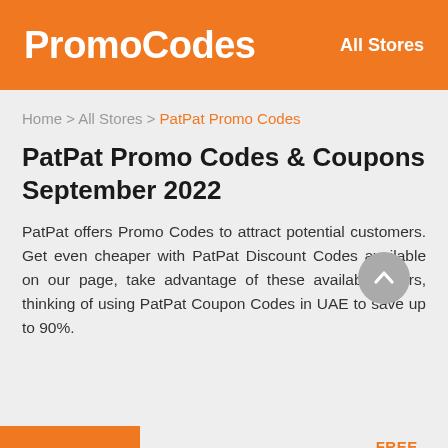PromoCodes   All Stores
Home > All Stores > PatPat Promo Codes
PatPat Promo Codes & Coupons September 2022
PatPat offers Promo Codes to attract potential customers. Get even cheaper with PatPat Discount Codes available on our page, take advantage of these available offers, thinking of using PatPat Coupon Codes in UAE to save up to 90%.
ALL   CODE   DEAL   FREE SHIPPING